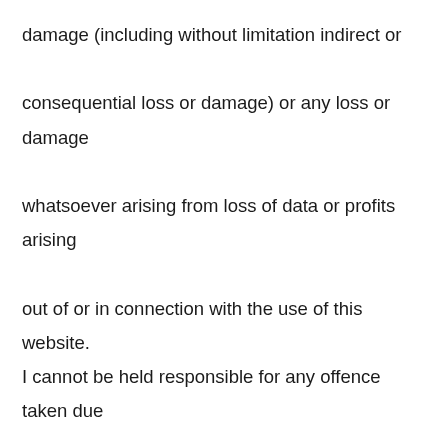damage (including without limitation indirect or consequential loss or damage) or any loss or damage whatsoever arising from loss of data or profits arising out of or in connection with the use of this website.

I cannot be held responsible for any offence taken due to translation, interpretation or mistakes in grammar and/or punctuation of my website's content.

Although I try to keep theworldskitchens.com running 24 hours a day, 365 days a year, access to the site may be temporarily or permanently suspended and without notice at my own discretion, due to possible updates or